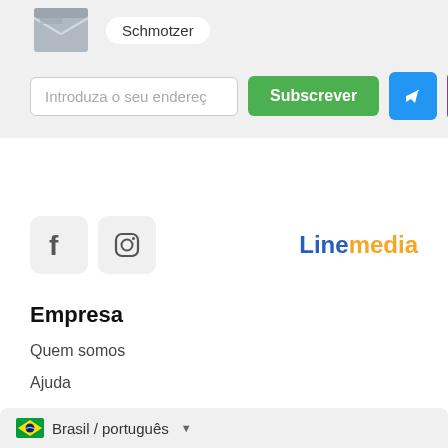[Figure (screenshot): Email subscription row with tag pill 'Schmotzer', email input field 'Introduza o seu endereço', green Subscribe button, Telegram icon button, Viber icon button]
[Figure (logo): Linemedia logo — 'Line' in blue, 'media' in orange]
[Figure (other): Facebook and Instagram social media icon boxes]
Empresa
Quem somos
Ajuda
Contactos
Brasil / português